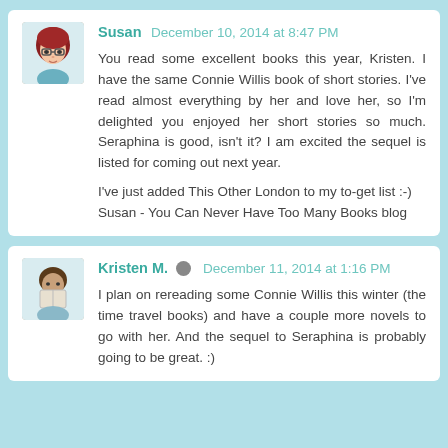Susan December 10, 2014 at 8:47 PM
You read some excellent books this year, Kristen. I have the same Connie Willis book of short stories. I've read almost everything by her and love her, so I'm delighted you enjoyed her short stories so much. Seraphina is good, isn't it? I am excited the sequel is listed for coming out next year.

I've just added This Other London to my to-get list :-)
Susan - You Can Never Have Too Many Books blog
Kristen M. December 11, 2014 at 1:16 PM
I plan on rereading some Connie Willis this winter (the time travel books) and have a couple more novels to go with her. And the sequel to Seraphina is probably going to be great. :)